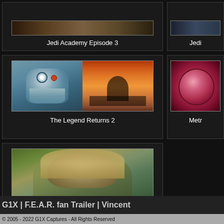[Figure (screenshot): Partial video thumbnail for Jedi Academy Episode 3, top left card showing bottom strip of game footage]
Jedi Academy Episode 3
[Figure (screenshot): Partial video thumbnail for Jedi (truncated title), top right card]
Jedi
[Figure (screenshot): Two-panel thumbnail for The Legend Returns 2: left shows owl creature from Zelda, right shows sunset silhouette scene]
The Legend Returns 2
[Figure (screenshot): Partial thumbnail for Metr (truncated title), showing reddish circular object]
Metr
[Figure (screenshot): Single-panel thumbnail for The Legend Returns, showing Link character closeup from Zelda game]
The Legend Returns
G1X | F.E.A.R. fan Trailer | Vincent
© 2005 - 2022 G1X Captures - All Rights Reserved